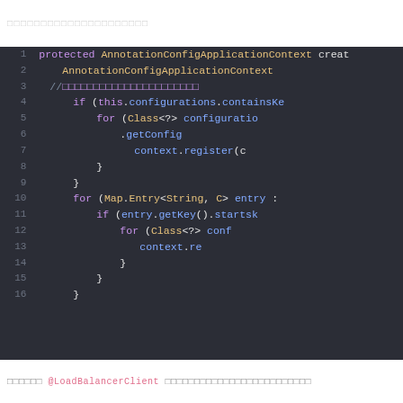□□□□□□□□□□□□□□□□□□□□□
[Figure (screenshot): Dark-themed IDE code screenshot showing Java method with line numbers 1-16. Code involves AnnotationConfigApplicationContext creation, configuration checks, for loops over Map.Entry and Class<?> configurations, context.register calls, with partial lines cut off on right side.]
□□□□□□ @LoadBalancerClient □□□□□□□□□□□□□□□□□□□□□□□□□